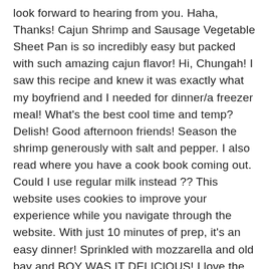look forward to hearing from you. Haha, Thanks! Cajun Shrimp and Sausage Vegetable Sheet Pan is so incredibly easy but packed with such amazing cajun flavor! Hi, Chungah! I saw this recipe and knew it was exactly what my boyfriend and I needed for dinner/a freezer meal! What's the best cool time and temp? Delish! Good afternoon friends! Season the shrimp generously with salt and pepper. I also read where you have a cook book coming out. Could I use regular milk instead ?? This website uses cookies to improve your experience while you navigate through the website. With just 10 minutes of prep, it's an easy dinner! Sprinkled with mozzarella and old bay and BOY WAS IT DELICIOUS! I love the idea of reducing the calories without losing the flavor…thanks for sharing! Butters looks so sweet and beautiful. This was fantastic! Yes, that's correct. Would this still taste okay if I made a sub for the chicken broth with vegetable broth? This dish was amazing!!!!!!! Butters